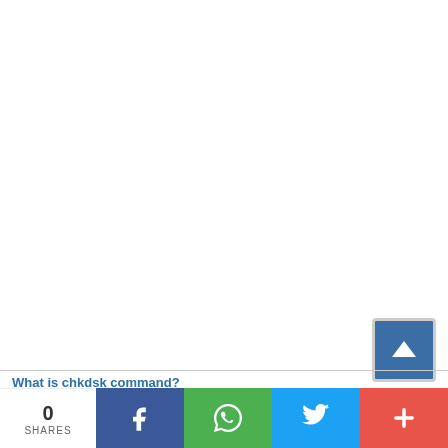What is chkdsk command?
[Figure (screenshot): Social share bar with 0 shares, Facebook (blue), WhatsApp (green), Twitter (blue), and More (red) buttons, plus a back-to-top arrow button]
0 SHARES